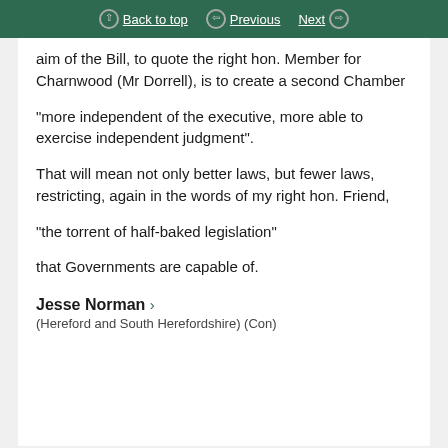Back to top | Previous | Next
aim of the Bill, to quote the right hon. Member for Charnwood (Mr Dorrell), is to create a second Chamber
“more independent of the executive, more able to exercise independent judgment”.
That will mean not only better laws, but fewer laws, restricting, again in the words of my right hon. Friend,
“the torrent of half-baked legislation”
that Governments are capable of.
Jesse Norman ›
(Hereford and South Herefordshire) (Con)